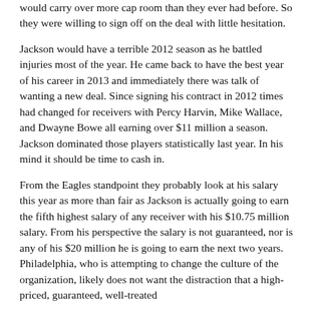would carry over more cap room than they ever had before. So they were willing to sign off on the deal with little hesitation.
Jackson would have a terrible 2012 season as he battled injuries most of the year. He came back to have the best year of his career in 2013 and immediately there was talk of wanting a new deal. Since signing his contract in 2012 times had changed for receivers with Percy Harvin, Mike Wallace, and Dwayne Bowe all earning over $11 million a season. Jackson dominated those players statistically last year. In his mind it should be time to cash in.
From the Eagles standpoint they probably look at his salary this year as more than fair as Jackson is actually going to earn the fifth highest salary of any receiver with his $10.75 million salary. From his perspective the salary is not guaranteed, nor is any of his $20 million he is going to earn the next two years. Philadelphia, who is attempting to change the culture of the organization, likely does not want the distraction that a high-priced, guaranteed, well-treated...